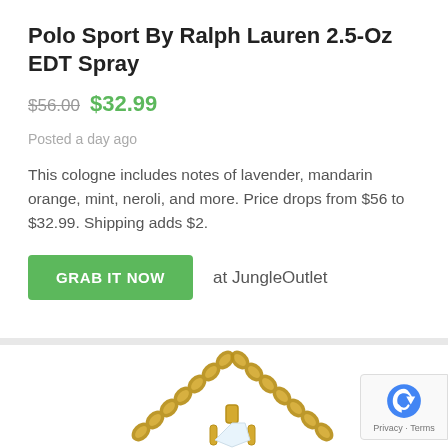Polo Sport By Ralph Lauren 2.5-Oz EDT Spray
$56.00  $32.99
Posted a day ago
This cologne includes notes of lavender, mandarin orange, mint, neroli, and more. Price drops from $56 to $32.99. Shipping adds $2.
GRAB IT NOW  at JungleOutlet
[Figure (photo): Gold chain necklace with diamond pendant, partially visible, cropped at bottom of page. reCAPTCHA badge visible in bottom-right corner with Privacy · Terms text.]